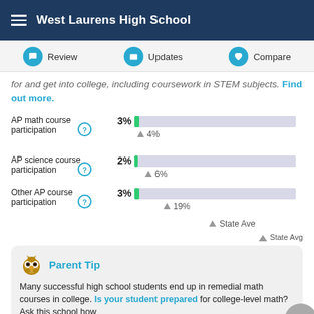West Laurens High School
Review  Updates  Compare
for and get into college, including coursework in STEM subjects. Find out more.
[Figure (bar-chart): AP course participation vs State Average]
▲ State Average
Parent Tip
Many successful high school students end up in remedial math courses in college. Is your student prepared for college-level math? Ask this school how